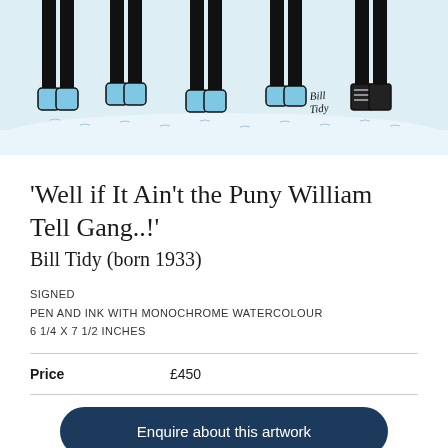[Figure (illustration): Cartoon illustration showing lower halves of several figures standing in snow, wearing boots and dark leggings. Artist signature visible bottom right reading 'Bill Tidy'.]
'Well if It Ain't the Puny William Tell Gang..!'
Bill Tidy (born 1933)
SIGNED
PEN AND INK WITH MONOCHROME WATERCOLOUR
6 1/4 X 7 1/2 INCHES
Price   £450
Enquire about this artwork